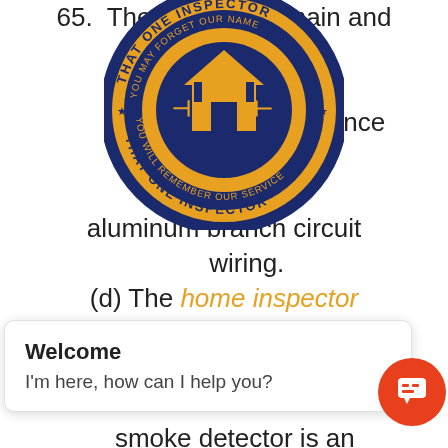65. The location of main and sub-panels. (c) The home inspector shall report on the presence or absence of accessible and aluminum branch circuit wiring. (d) The home inspector shall report on the presence or absence of smoke detectors. If the smoke detector is an individual (stand alone) unit, the home inspector shall operate its test function. If the smoke detector is incorporated in a system should test the
[Figure (logo): That One Inspector circular logo with house icon, orange and dark navy colors, text reading 'YOU MAY FORGET OUR NAME, YOU WILL REMEMBER OUR SERVICE, THAT ONE INSPECTOR']